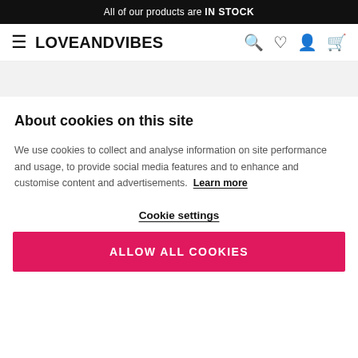All of our products are IN STOCK
LOVEANDVIBES
About cookies on this site
We use cookies to collect and analyse information on site performance and usage, to provide social media features and to enhance and customise content and advertisements. Learn more
Cookie settings
ALLOW ALL COOKIES